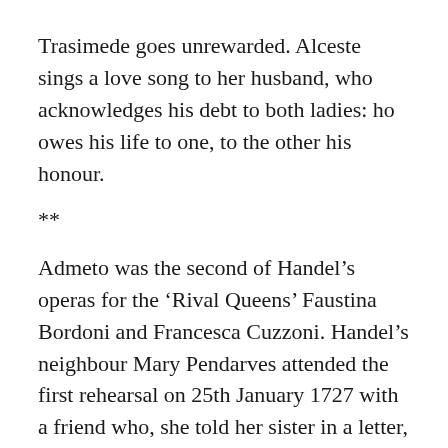Trasimede goes unrewarded. Alceste sings a love song to her husband, who acknowledges his debt to both ladies: ho owes his life to one, to the other his honour.
**
Admeto was the second of Handel’s operas for the ‘Rival Queens’ Faustina Bordoni and Francesca Cuzzoni. Handel’s neighbour Mary Pendarves attended the first rehearsal on 25th January 1727 with a friend who, she told her sister in a letter, was driven ‘out of her senses’ by the performances of Senesino, Cuzzoni and Faustina. Charles Burney, the music historian, was ‘told by persons who heard this opera performed when it first came out, that Senesino never sung or acted better, or more to the satisfaction of the public, than in the opening scene’. The opera ran for 19 performances,